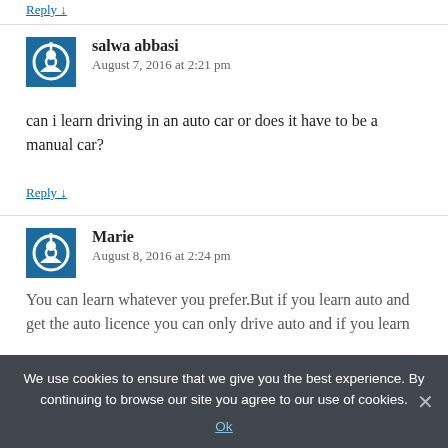Reply ↓
salwa abbasi
August 7, 2016 at 2:21 pm
can i learn driving in an auto car or does it have to be a manual car?
Reply ↓
Marie
August 8, 2016 at 2:24 pm
You can learn whatever you prefer.But if you learn auto and get the auto licence you can only drive auto and if you learn
We use cookies to ensure that we give you the best experience. By continuing to browse our site you agree to our use of cookies.
Ok